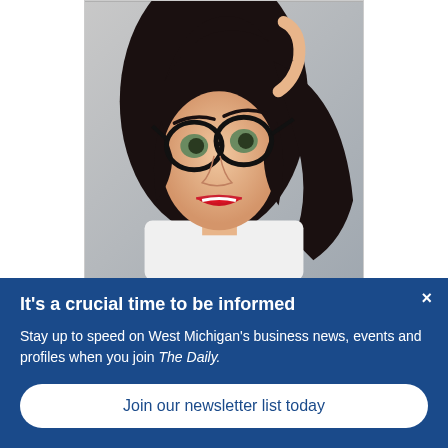[Figure (photo): Woman with black cat-eye glasses, dark curly hair, wearing a white shirt, looking upward with a frustrated expression, hand on head]
FRUSTRATED WITH YOUR MARKETING CAMPAIGN?
It's a crucial time to be informed
Stay up to speed on West Michigan's business news, events and profiles when you join The Daily.
Join our newsletter list today